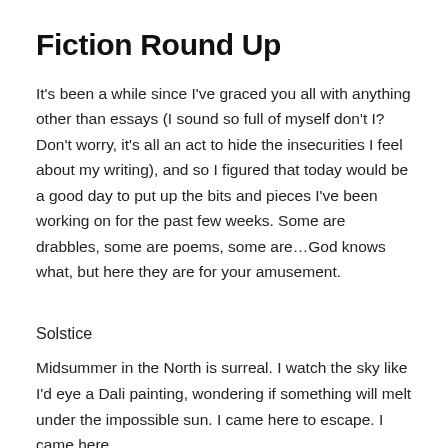Fiction Round Up
It's been a while since I've graced you all with anything other than essays (I sound so full of myself don't I? Don't worry, it's all an act to hide the insecurities I feel about my writing), and so I figured that today would be a good day to put up the bits and pieces I've been working on for the past few weeks. Some are drabbles, some are poems, some are…God knows what, but here they are for your amusement.
Solstice
Midsummer in the North is surreal. I watch the sky like I'd eye a Dali painting, wondering if something will melt under the impossible sun. I came here to escape. I came here